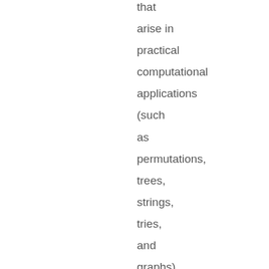that arise in practical computational applications (such as permutations, trees, strings, tries, and graphs) and papers that address the precise analysis of algorithms for processing such structures, including: average-case analysis; analysis